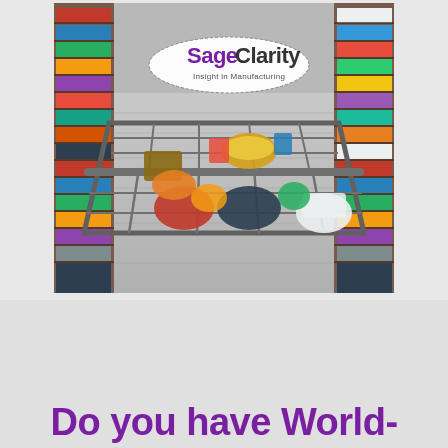[Figure (photo): Overhead view of a full grocery shopping cart in a supermarket aisle, with store shelves visible in the background. The SageClarity logo with tagline 'Insight in Manufacturing' overlaid on the image.]
Do you have World-